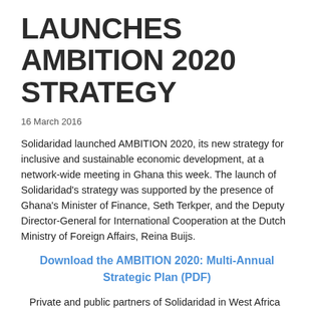LAUNCHES AMBITION 2020 STRATEGY
16 March 2016
Solidaridad launched AMBITION 2020, its new strategy for inclusive and sustainable economic development, at a network-wide meeting in Ghana this week. The launch of Solidaridad’s strategy was supported by the presence of Ghana’s Minister of Finance, Seth Terkper, and the Deputy Director-General for International Cooperation at the Dutch Ministry of Foreign Affairs, Reina Buijs.
Download the AMBITION 2020: Multi-Annual Strategic Plan (PDF)
Private and public partners of Solidaridad in West Africa and representatives of all Solidaridad expertise centres